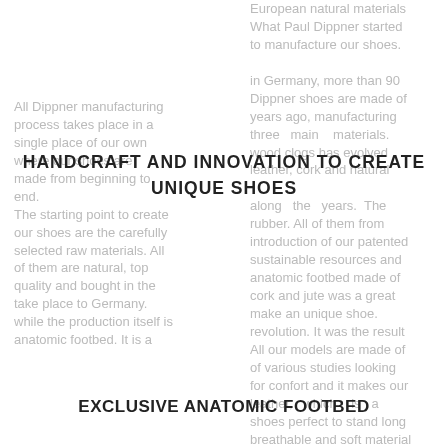HANDCRAFT AND INNOVATION TO CREATE UNIQUE SHOES
European natural materials. What Paul Dippner started to manufacture our shoes. in Germany, more than 90 Dippner shoes are made of years ago, manufacturing three main materials. wood clogs has evolved leather, cork and natural along the years. The rubber. All of them from All Dippner manufacturing introduction of our patented sustainable resources and process takes place in a anatomic footbed made of very carefully selected to single place of our own cork and jute was a great make an unique shoe. where our shoes are revolution. It was the result All our models are made of made from beginning to of various studies looking top quality natural bovine end. for confort and it makes our leather, which is a The starting point to create shoes perfect to stand long breathable and soft material our shoes are the carefully hours. that allows you to enjoy selected raw materials. All The design and technical every step. of them are natural, top development of our shoes On the other hand, cork is quality and bought in the take place to Germany. European Union. while the production itself is anatomic footbed. It is a
EXCLUSIVE ANATOMIC FOOTBED